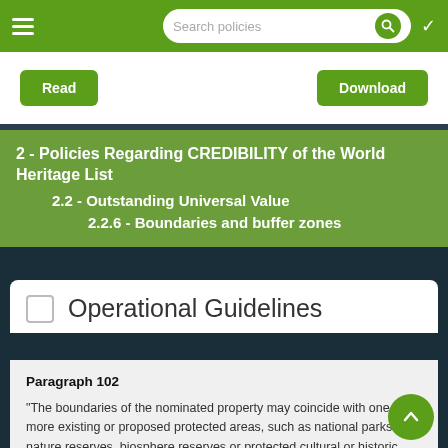Search policies
Read   Download
2 - Policies Regarding CREDIBILITY of the World Heritage List
2.2 - Outstanding Universal Value
2.2.6 - Boundaries and buffer zones
Operational Guidelines
Paragraph 102
“The boundaries of the nominated property may coincide with one or more existing or proposed protected areas, such as national parks or nature reserves, biosphere reserves or protected cultural or historic districts or other